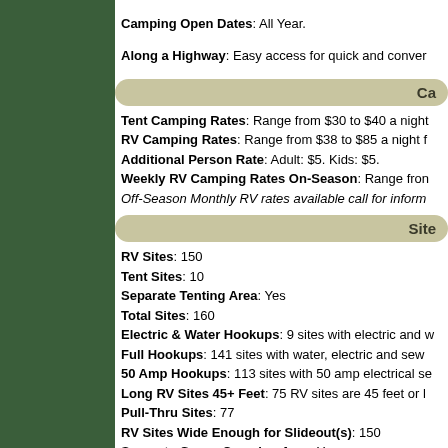Camping Open Dates: All Year. Along a Highway: Easy access for quick and conven...
Ca...
Tent Camping Rates: Range from $30 to $40 a night. RV Camping Rates: Range from $38 to $85 a night f... Additional Person Rate: Adult: $5. Kids: $5. Weekly RV Camping Rates On-Season: Range from... Off-Season Monthly RV rates available call for inform...
Site...
RV Sites: 150
Tent Sites: 10
Separate Tenting Area: Yes
Total Sites: 160
Electric & Water Hookups: 9 sites with electric and w...
Full Hookups: 141 sites with water, electric and sew...
50 Amp Hookups: 113 sites with 50 amp electrical s...
Long RV Sites 45+ Feet: 75 RV sites are 45 feet or l...
Pull-Thru Sites: 77
RV Sites Wide Enough for Slideout(s): 150
Separate Group Camping Area: Yes
Winterized Sites: 141
Hot Showers in Winter: Yes
F...